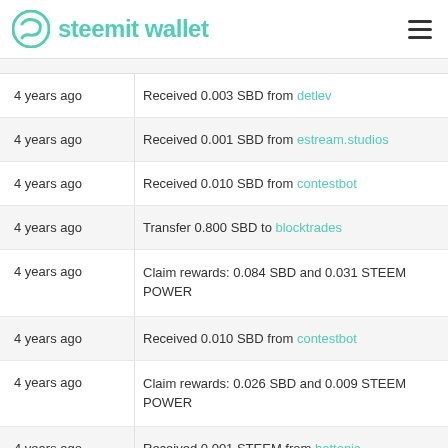steemit wallet
4 years ago — Received 0.003 SBD from detlev
4 years ago — Received 0.001 SBD from estream.studios
4 years ago — Received 0.010 SBD from contestbot
4 years ago — Transfer 0.800 SBD to blocktrades
4 years ago — Claim rewards: 0.084 SBD and 0.031 STEEM POWER
4 years ago — Received 0.010 SBD from contestbot
4 years ago — Claim rewards: 0.026 SBD and 0.009 STEEM POWER
4 years ago — Received 0.001 STEEM from hottopic